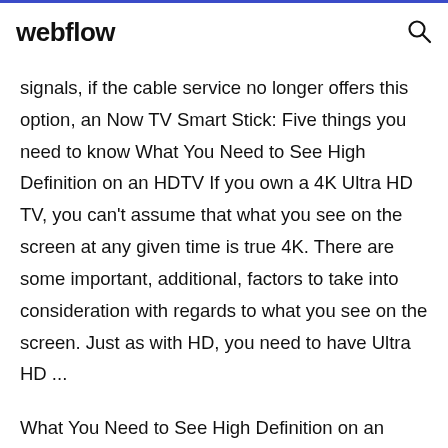webflow
signals, if the cable service no longer offers this option, an Now TV Smart Stick: Five things you need to know What You Need to See High Definition on an HDTV If you own a 4K Ultra HD TV, you can't assume that what you see on the screen at any given time is true 4K. There are some important, additional, factors to take into consideration with regards to what you see on the screen. Just as with HD, you need to have Ultra HD ...
What You Need to See High Definition on an HDTV If you own a 4K Ultra HD TV, you can't assume that what you see on the screen at any